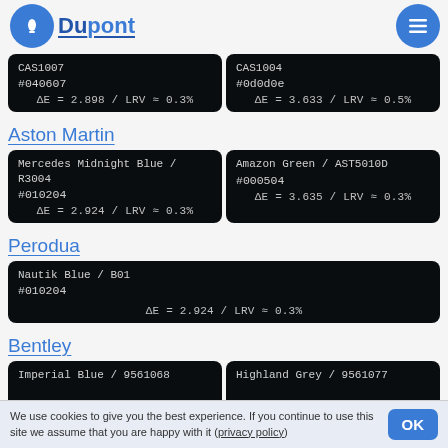Dupont
| CAS1007 | CAS1004 |
| --- | --- |
| #040607
ΔE = 2.898 / LRV ≈ 0.3% | #0d0d0e
ΔE = 3.633 / LRV ≈ 0.5% |
Aston Martin
| Mercedes Midnight Blue / R3004 | Amazon Green / AST5010D |
| --- | --- |
| #010204
ΔE = 2.924 / LRV ≈ 0.3% | #000504
ΔE = 3.635 / LRV ≈ 0.3% |
Perodua
| Nautik Blue / B01 |
| --- |
| #010204
ΔE = 2.924 / LRV ≈ 0.3% |
Bentley
| Imperial Blue / 9561068 | Highland Grey / 9561077 |
| --- | --- |
|  |
We use cookies to give you the best experience. If you continue to use this site we assume that you are happy with it (privacy policy)